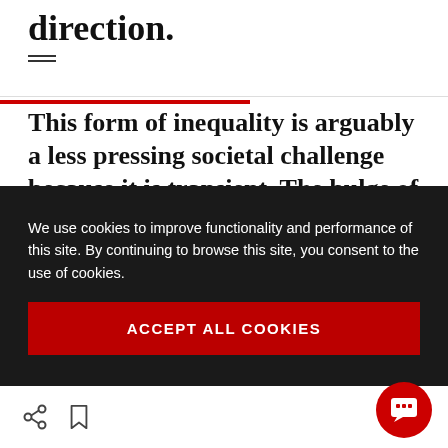direction.
This form of inequality is arguably a less pressing societal challenge because it is transient. The bulge of baby boomers in high-wealth and high-income years vs. millennials in low-wealth and low-income years creates the mathematical basis for rising inequality. By itself, it does not stem from a lack of social
We use cookies to improve functionality and performance of this site. By continuing to browse this site, you consent to the use of cookies.
ACCEPT ALL COOKIES